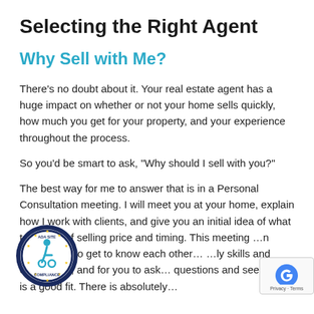Selecting the Right Agent
Why Sell with Me?
There’s no doubt about it. Your real estate agent has a huge impact on whether or not your home sells quickly, how much you get for your property, and your experience throughout the process.
So you’d be smart to ask, “Why should I sell with you?”
The best way for me to answer that is in a Personal Consultation meeting. I will meet you at your home, explain how I work with clients, and give you an initial idea of what t… terms of selling price and timing. This meeting …n opportunity to get to know each other… …ly skills and experience; and for you to ask… questions and see if there is a good fit. There is absolutely…
[Figure (logo): ADA Site Compliance badge - circular seal with wheelchair accessibility symbol]
[Figure (logo): reCAPTCHA badge with Privacy and Terms links]